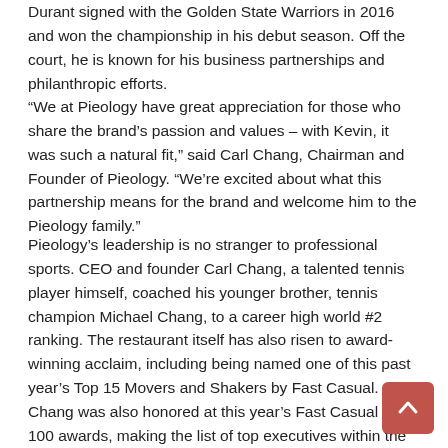Durant signed with the Golden State Warriors in 2016 and won the championship in his debut season. Off the court, he is known for his business partnerships and philanthropic efforts.
“We at Pieology have great appreciation for those who share the brand’s passion and values – with Kevin, it was such a natural fit,” said Carl Chang, Chairman and Founder of Pieology. “We’re excited about what this partnership means for the brand and welcome him to the Pieology family.”
Pieology’s leadership is no stranger to professional sports. CEO and founder Carl Chang, a talented tennis player himself, coached his younger brother, tennis champion Michael Chang, to a career high world #2 ranking. The restaurant itself has also risen to award-winning acclaim, including being named one of this past year’s Top 15 Movers and Shakers by Fast Casual. Chang was also honored at this year’s Fast Casual Top 100 awards, making the list of top executives within the fast-casual industry.